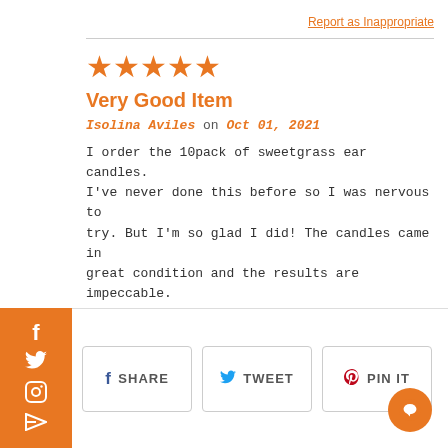Report as Inappropriate
Very Good Item
Isolina Aviles on Oct 01, 2021
I order the 10pack of sweetgrass ear candles. I've never done this before so I was nervous to try. But I'm so glad I did! The candles came in great condition and the results are impeccable.
Report as Inappropriate
SHARE
TWEET
PIN IT